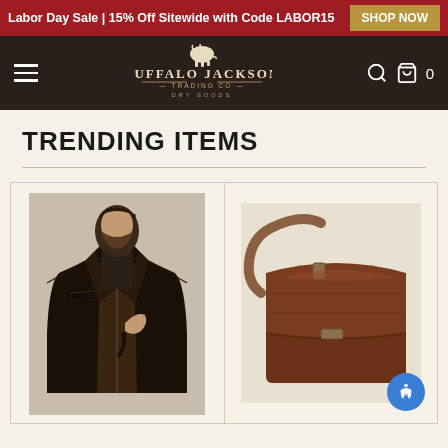Labor Day Sale | 15% Off Sitewide with Code LABOR15  SHOP NOW
[Figure (logo): Buffalo Jackson Trading Co. Dry Goods logo with bison icon on dark brown navigation bar]
TRENDING ITEMS
[Figure (photo): Man wearing a dark brown/black leather jacket, pulling it open to show the lining]
[Figure (photo): Brown leather messenger bag with tan shoulder strap]